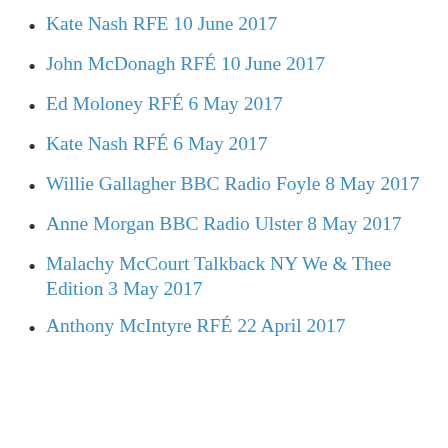Kate Nash RFE 10 June 2017
John McDonagh RFÉ 10 June 2017
Ed Moloney RFÉ 6 May 2017
Kate Nash RFÉ 6 May 2017
Willie Gallagher BBC Radio Foyle 8 May 2017
Anne Morgan BBC Radio Ulster 8 May 2017
Malachy McCourt Talkback NY We & Thee Edition 3 May 2017
Anthony McIntyre RFÉ 22 April 2017